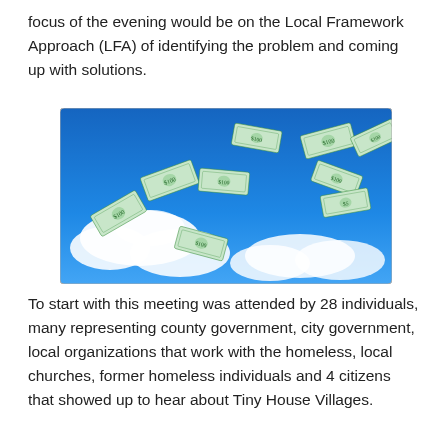focus of the evening would be on the Local Framework Approach (LFA) of identifying the problem and coming up with solutions.
[Figure (photo): Photo of US dollar bills flying through a blue sky with white clouds.]
To start with this meeting was attended by 28 individuals, many representing county government, city government, local organizations that work with the homeless, local churches, former homeless individuals and 4 citizens that showed up to hear about Tiny House Villages.